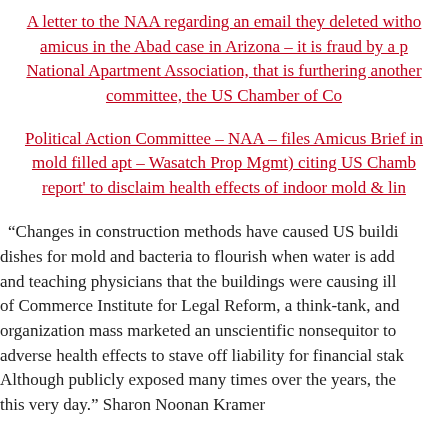A letter to the NAA regarding an email they deleted witho amicus in the Abad case in Arizona – it is fraud by a p National Apartment Association, that is furthering another committee, the US Chamber of Co
Political Action Committee – NAA – files Amicus Brief in mold filled apt – Wasatch Prop Mgmt) citing US Chamb report' to disclaim health effects of indoor mold & lin
“Changes in construction methods have caused US buildi dishes for mold and bacteria to flourish when water is add and teaching physicians that the buildings were causing ill of Commerce Institute for Legal Reform, a think-tank, and organization mass marketed an unscientific nonsequitor to adverse health effects to stave off liability for financial stak Although publicly exposed many times over the years, the this very day.” Sharon Noonan Kramer